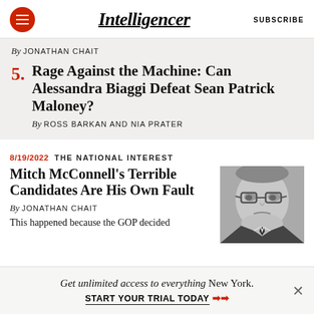Intelligencer  SUBSCRIBE
By JONATHAN CHAIT
5. Rage Against the Machine: Can Alessandra Biaggi Defeat Sean Patrick Maloney? By ROSS BARKAN AND NIA PRATER
8/19/2022  THE NATIONAL INTEREST
Mitch McConnell's Terrible Candidates Are His Own Fault
By JONATHAN CHAIT
This happened because the GOP decided
[Figure (photo): Black and white photo of Mitch McConnell looking downward]
Get unlimited access to everything New York.
START YOUR TRIAL TODAY ➤➤